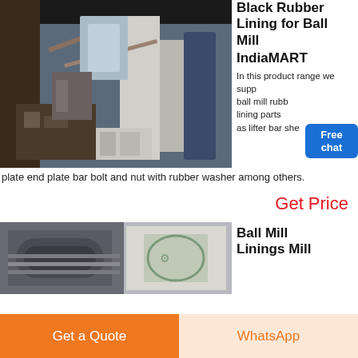[Figure (photo): Industrial ball mill machinery inside a large facility with pipes, columns, and equipment]
Black Rubber Lining for Ball Mill
IndiaMART
In this product range we supply ball mill rubber lining parts such as lifter bar shell plate end plate bar bolt and nut with rubber washer among others.
Get Price
[Figure (photo): Ball mill linings product image showing machinery components]
Ball Mill Linings Mill
Get a Quote
WhatsApp